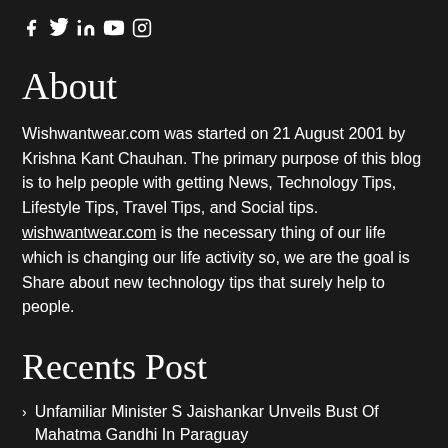[Figure (other): Social media icons row: Facebook (f), Twitter (bird/Y), LinkedIn (in), YouTube (play button), Instagram (circle)]
About
Wishwantwear.com was started on 21 August 2001 by Krishna Kant Chauhan. The primary purpose of this blog is to help people with getting News, Technology Tips, Lifestyle Tips, Travel Tips, and Social tips. wishwantwear.com is the necessary thing of our life which is changing our life activity so, we are the goal is Share about new technology tips that surely help to people.
Recents Post
Unfamiliar Minister S Jaishankar Unveils Bust Of Mahatma Gandhi In Paraguay